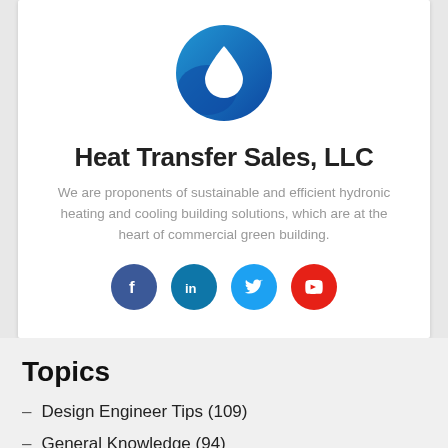[Figure (logo): Blue circular logo with white water droplet in the center for Heat Transfer Sales, LLC]
Heat Transfer Sales, LLC
We are proponents of sustainable and efficient hydronic heating and cooling building solutions, which are at the heart of commercial green building.
[Figure (infographic): Four social media icons: Facebook (dark blue circle with f), LinkedIn (teal circle with in), Twitter (light blue circle with bird), YouTube (red circle with play button)]
Topics
Design Engineer Tips (109)
General Knowledge (94)